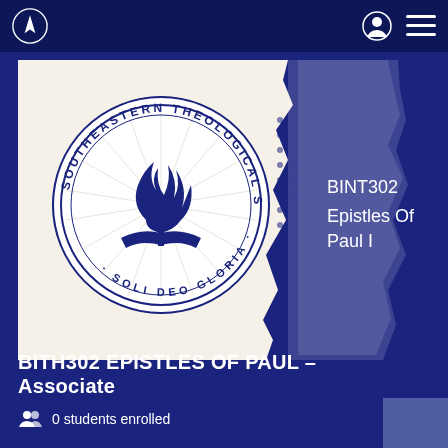[Figure (logo): Southeastern Theological Seminary logo seal with Adventist flame symbol and text 'SOUTHEASTERN THEOLOGICAL SEMINARY · SOLI DEO GLORIA']
BINT302
Epistles Of Paul I
BITH302 EPISTLES OF PAUL – Associate
0 students enrolled